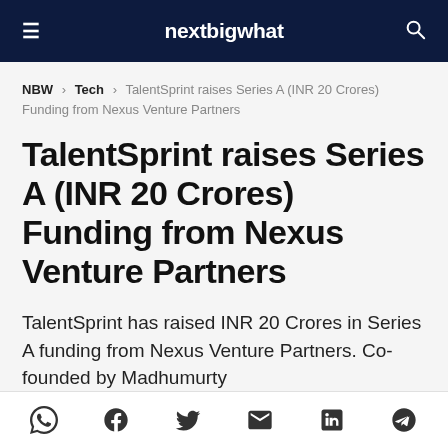nextbigwhat
NBW > Tech > TalentSprint raises Series A (INR 20 Crores) Funding from Nexus Venture Partners
TalentSprint raises Series A (INR 20 Crores) Funding from Nexus Venture Partners
TalentSprint has raised INR 20 Crores in Series A funding from Nexus Venture Partners. Co-founded by Madhumurty